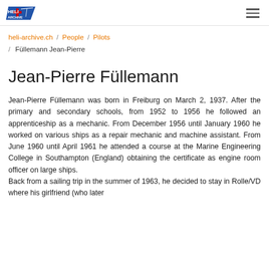heli-archive.ch logo and navigation
heli-archive.ch / People / Pilots / Füllemann Jean-Pierre
Jean-Pierre Füllemann
Jean-Pierre Füllemann was born in Freiburg on March 2, 1937. After the primary and secondary schools, from 1952 to 1956 he followed an apprenticeship as a mechanic. From December 1956 until January 1960 he worked on various ships as a repair mechanic and machine assistant. From June 1960 until April 1961 he attended a course at the Marine Engineering College in Southampton (England) obtaining the certificate as engine room officer on large ships.
Back from a sailing trip in the summer of 1963, he decided to stay in Rolle/VD where his girlfriend (who later